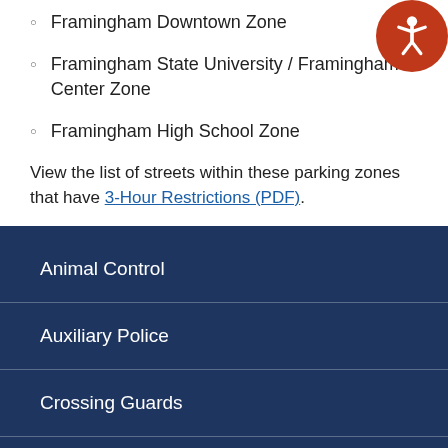Framingham Downtown Zone
Framingham State University / Framingham Center Zone
Framingham High School Zone
View the list of streets within these parking zones that have 3-Hour Restrictions (PDF).
[Figure (illustration): Orange circular accessibility icon with white person figure raising arms, positioned top-right corner]
Animal Control
Auxiliary Police
Crossing Guards